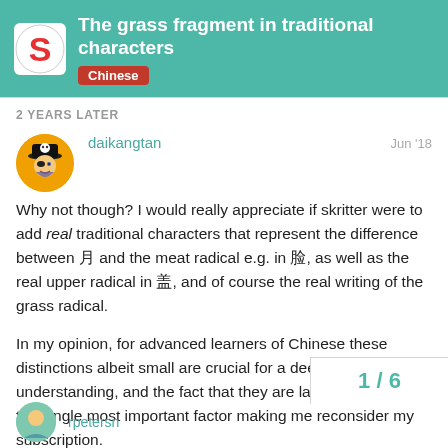The grass fragment in traditional characters — Chinese
2 YEARS LATER
daikangtan   Jun '18
Why not though? I would really appreciate if skritter were to add real traditional characters that represent the difference between 月 and the meat radical e.g. in 脸, as well as the real upper radical in 盖, and of course the real writing of the grass radical.

In my opinion, for advanced learners of Chinese these distinctions albeit small are crucial for a deeper understanding, and the fact that they are lacking in skritter is the single most important factor making me reconsider my subscription.
1 / 6
rpetersn